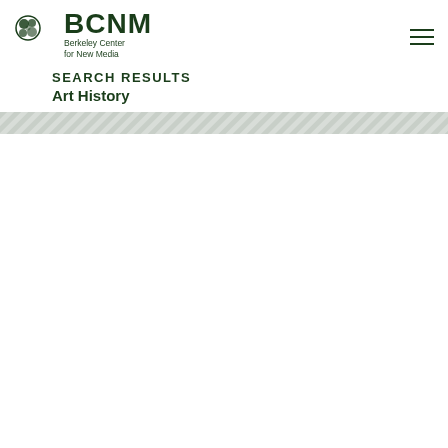BCNM Berkeley Center for New Media
SEARCH RESULTS
Art History
[Figure (other): Decorative diagonal stripe divider bar in light green/grey tones]